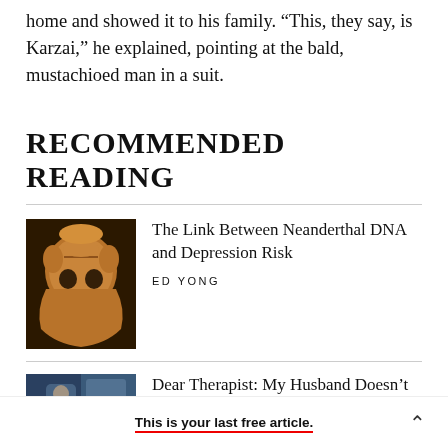home and showed it to his family. “This, they say, is Karzai,” he explained, pointing at the bald, mustachioed man in a suit.
RECOMMENDED READING
[Figure (photo): Close-up photo of an ancient skull with golden/amber coloring, photographed against a dark background.]
The Link Between Neanderthal DNA and Depression Risk
ED YONG
[Figure (photo): Partial photo of a person, blue-toned image, partially visible.]
Dear Therapist: My Husband Doesn’t
This is your last free article.